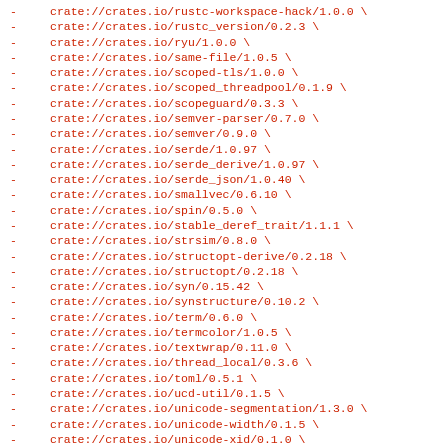- crate://crates.io/rustc-workspace-hack/1.0.0 \
- crate://crates.io/rustc_version/0.2.3 \
- crate://crates.io/ryu/1.0.0 \
- crate://crates.io/same-file/1.0.5 \
- crate://crates.io/scoped-tls/1.0.0 \
- crate://crates.io/scoped_threadpool/0.1.9 \
- crate://crates.io/scopeguard/0.3.3 \
- crate://crates.io/semver-parser/0.7.0 \
- crate://crates.io/semver/0.9.0 \
- crate://crates.io/serde/1.0.97 \
- crate://crates.io/serde_derive/1.0.97 \
- crate://crates.io/serde_json/1.0.40 \
- crate://crates.io/smallvec/0.6.10 \
- crate://crates.io/spin/0.5.0 \
- crate://crates.io/stable_deref_trait/1.1.1 \
- crate://crates.io/strsim/0.8.0 \
- crate://crates.io/structopt-derive/0.2.18 \
- crate://crates.io/structopt/0.2.18 \
- crate://crates.io/syn/0.15.42 \
- crate://crates.io/synstructure/0.10.2 \
- crate://crates.io/term/0.6.0 \
- crate://crates.io/termcolor/1.0.5 \
- crate://crates.io/textwrap/0.11.0 \
- crate://crates.io/thread_local/0.3.6 \
- crate://crates.io/toml/0.5.1 \
- crate://crates.io/ucd-util/0.1.5 \
- crate://crates.io/unicode-segmentation/1.3.0 \
- crate://crates.io/unicode-width/0.1.5 \
- crate://crates.io/unicode-xid/0.1.0 \
- crate://crates.io/unicode_categories/0.1.1 \